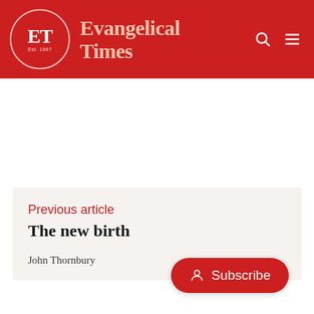Evangelical Times
Previous article
The new birth
John Thornbury
Subscribe